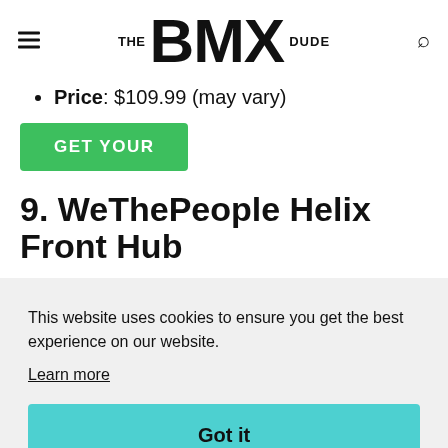THE BMX DUDE
Price: $109.99 (may vary)
GET YOUR
9. WeThePeople Helix Front Hub
This website uses cookies to ensure you get the best experience on our website.
Learn more
Got it